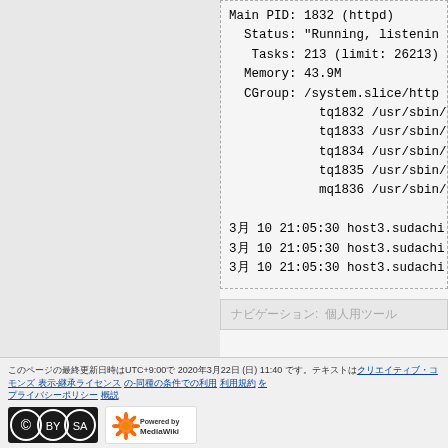[Figure (screenshot): Terminal/systemctl output showing service status with Main PID, Status, Tasks, Memory, CGroup details and log lines]
ナビゲーションメニュー  個人用ツール
このページの最終更新日時はUTC+9:00で 2020年3月22日 (日) 11:40 です。テキストはクリエイティブ・コモンズ 表示-継承ライセンスの下で利用可能です。追加の条件が適用される場合があります。詳細はご利用規約をご覧ください。 プライバシーポリシー MediaWikuiについて